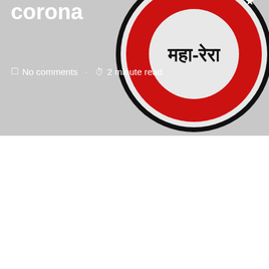[Figure (logo): MahaRERA circular seal/logo in red with stars and Devanagari text महा-रेरा]
corona
No comments · 2 minute read